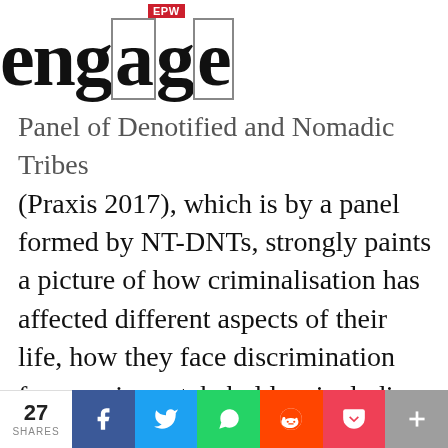EPW engage
Panel of Denotified and Nomadic Tribes (Praxis 2017), which is by a panel formed by NT-DNTs, strongly paints a picture of how criminalisation has affected different aspects of their life, how they face discrimination from various stakeholders including the government, low access to basic infrastructure, very poor access of the Sustainable Development Goals. A report by the Action Aid Association establishes how a lack of documents is leading to a crisis of their identity and citizenship, in
27 SHARES f (Facebook) (Twitter) (WhatsApp) (Reddit) (Pocket) +